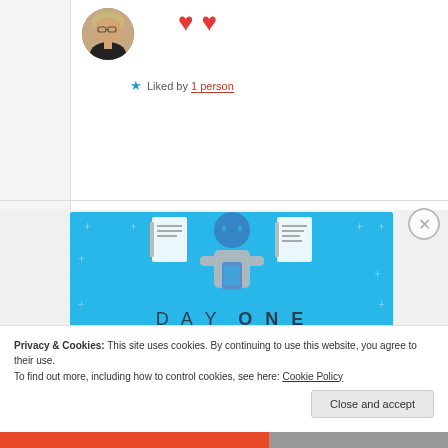[Figure (illustration): Circular avatar photo of a person with glasses and short blonde hair, wearing black clothing]
❤ ❤
★ Liked by 1 person
[Figure (illustration): Day One journaling app advertisement on blue background. Shows illustration of person using phone/device with notebook icons. Text reads: DAY ONE - The only journaling app you'll ever need. Get the app button.]
Privacy & Cookies: This site uses cookies. By continuing to use this website, you agree to their use.
To find out more, including how to control cookies, see here: Cookie Policy
Close and accept